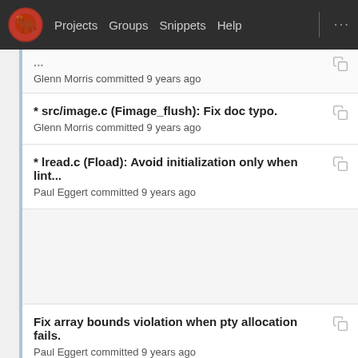Projects  Groups  Snippets  Help  ...
Glenn Morris committed 9 years ago
* src/image.c (Fimage_flush): Fix doc typo.
Glenn Morris committed 9 years ago
* lread.c (Fload): Avoid initialization only when lint...
Paul Eggert committed 9 years ago
Fix array bounds violation when pty allocation fails.
Paul Eggert committed 9 years ago
* lread.c (Fload): Avoid initialization only when lint...